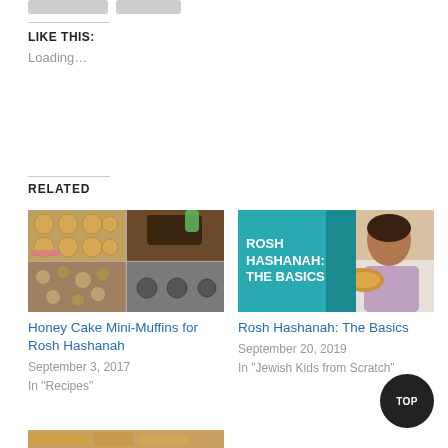LIKE THIS:
Loading…
RELATED
[Figure (photo): Honey Cake Mini-Muffins composite photo showing baked mini muffins on tray and process shots]
Honey Cake Mini-Muffins for Rosh Hashanah
September 3, 2017
In "Recipes"
[Figure (photo): Rosh Hashanah: The Basics thumbnail with teal background text and woman holding challah bread]
Rosh Hashanah: The Basics
September 20, 2019
In "Jewish Kids from Scratch"